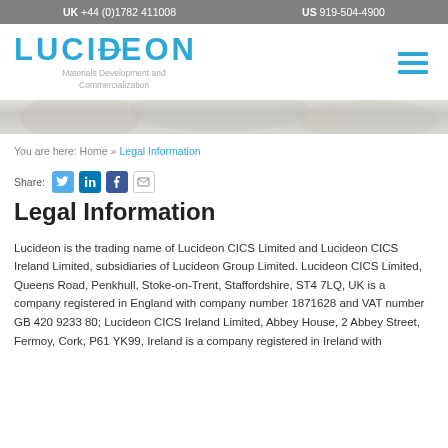UK +44 (0)1782 411008    US 919-504-4900
[Figure (logo): Lucideon logo with tagline: Materials Development and Commercialization]
[Figure (illustration): Decorative banner image with subtle textured background]
You are here: Home » Legal Information
Share:
Legal Information
Lucideon is the trading name of Lucideon CICS Limited and Lucideon CICS Ireland Limited, subsidiaries of Lucideon Group Limited. Lucideon CICS Limited, Queens Road, Penkhull, Stoke-on-Trent, Staffordshire, ST4 7LQ, UK is a company registered in England with company number 1871628 and VAT number GB 420 9233 80; Lucideon CICS Ireland Limited, Abbey House, 2 Abbey Street, Fermoy, Cork, P61 YK99, Ireland is a company registered in Ireland with